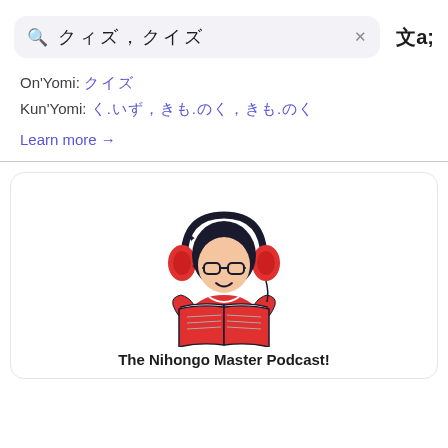🔍 □□□, □□□  ×  文🔍
On'Yomi: □□□
Kun'Yomi: □.□□, □□.□□, □□.□□
Learn more →
[Figure (illustration): Cartoon illustration of a person wearing red headphones and glasses, reading an open book, wearing a red shirt. Sparkle stars around the headphones. Black and white line-art style with red color accents.]
The Nihongo Master Podcast!